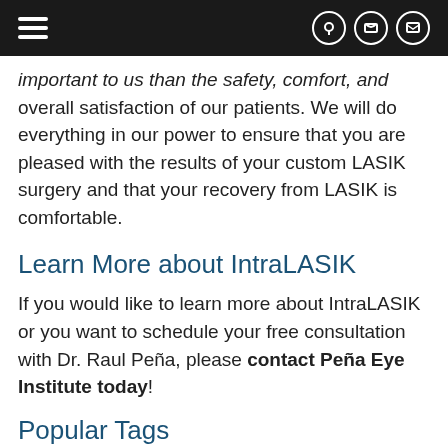[navigation bar with hamburger menu and icons]
important to us than the safety, comfort, and overall satisfaction of our patients. We will do everything in our power to ensure that you are pleased with the results of your custom LASIK surgery and that your recovery from LASIK is comfortable.
Learn More about IntraLASIK
If you would like to learn more about IntraLASIK or you want to schedule your free consultation with Dr. Raul Peña, please contact Peña Eye Institute today!
Popular Tags